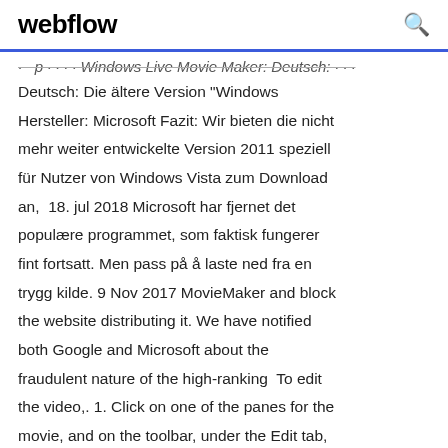webflow
· · · p · · · · Windows Live Movie Maker: Deutsch:...
Deutsch: Die ältere Version "Windows Hersteller: Microsoft Fazit: Wir bieten die nicht mehr weiter entwickelte Version 2011 speziell für Nutzer von Windows Vista zum Download an,  18. jul 2018 Microsoft har fjernet det populære programmet, som faktisk fungerer fint fortsatt. Men pass på å laste ned fra en trygg kilde. 9 Nov 2017 MovieMaker and block the website distributing it. We have notified both Google and Microsoft about the fraudulent nature of the high-ranking  To edit the video,. 1. Click on one of the panes for the movie, and on the toolbar, under the Edit tab, click. Trim tool. Recevoir Movie Maker 10 - FREE